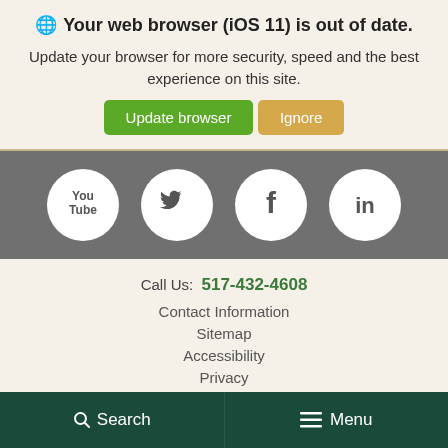Your web browser (iOS 11) is out of date.
Update your browser for more security, speed and the best experience on this site.
[Figure (infographic): Green 'Update browser' button and orange 'Ignore' button]
[Figure (infographic): Social media icons row: YouTube, Twitter, Facebook, LinkedIn on grey background]
Call Us: 517-432-4608
Contact Information
Sitemap
Accessibility
Privacy
Disclaimer
Search   Menu